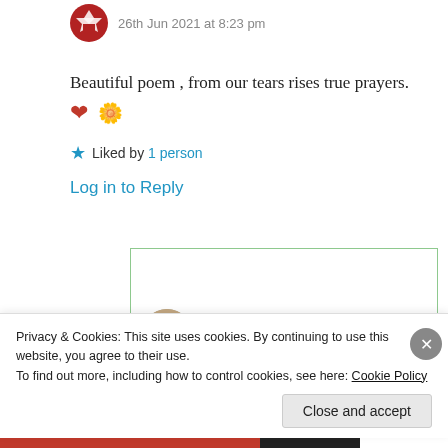26th Jun 2021 at 8:23 pm
Beautiful poem , from our tears rises true prayers. ❤️ 🌼
★ Liked by 1 person
Log in to Reply
Suma Reddy
Privacy & Cookies: This site uses cookies. By continuing to use this website, you agree to their use. To find out more, including how to control cookies, see here: Cookie Policy
Close and accept